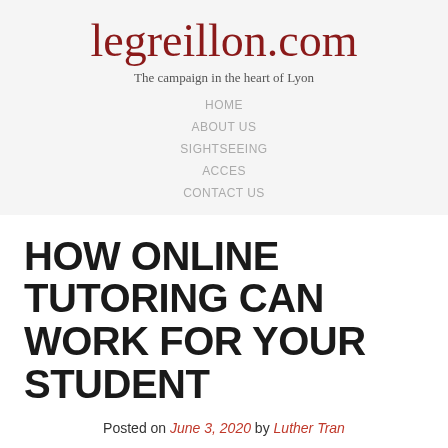legreillon.com
The campaign in the heart of Lyon
HOME
ABOUT US
SIGHTSEEING
ACCES
CONTACT US
HOW ONLINE TUTORING CAN WORK FOR YOUR STUDENT
Posted on June 3, 2020 by Luther Tran